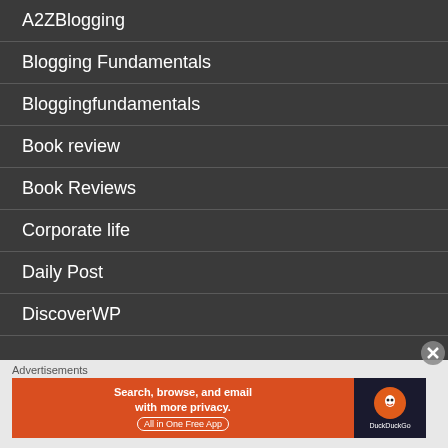A2ZBlogging
Blogging Fundamentals
Bloggingfundamentals
Book review
Book Reviews
Corporate life
Daily Post
DiscoverWP
Advertisements
[Figure (screenshot): DuckDuckGo advertisement banner: 'Search, browse, and email with more privacy. All in One Free App' with DuckDuckGo logo]